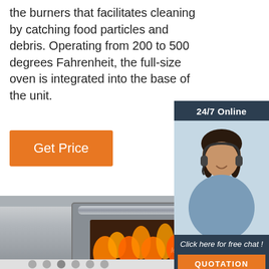the burners that facilitates cleaning by catching food particles and debris. Operating from 200 to 500 degrees Fahrenheit, the full-size oven is integrated into the base of the unit.
Get Price
[Figure (photo): Customer service representative woman with headset smiling, inside a dark blue chat widget box labeled '24/7 Online' at the top and 'Click here for free chat!' with an orange QUOTATION button at the bottom.]
[Figure (photo): Industrial stainless steel pizza/bread oven with a horizontal metal handle bar and a glass window showing orange flames inside. Control panel visible on the right side. Watermark 'lecon' visible.]